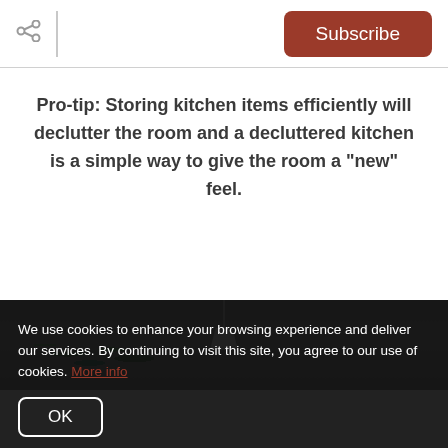Subscribe
Pro-tip: Storing kitchen items efficiently will declutter the room and a decluttered kitchen is a simple way to give the room a "new" feel.
[Figure (photo): Kitchen scene with hanging pendant lamp and green plants on a shelf against a grey wall]
We use cookies to enhance your browsing experience and deliver our services. By continuing to visit this site, you agree to our use of cookies. More info
OK